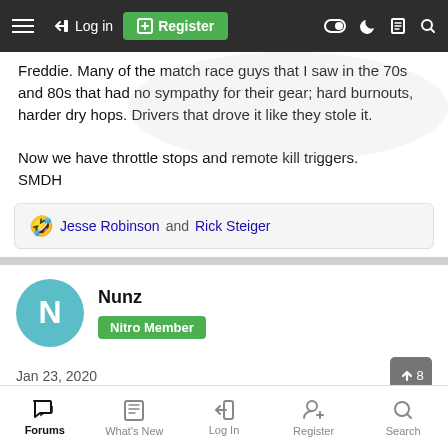≡  Log in  Register
Freddie. Many of the match race guys that I saw in the 70s and 80s that had no sympathy for their gear; hard burnouts, harder dry hops. Drivers that drove it like they stole it.

Now we have throttle stops and remote kill triggers.
SMDH
😂 Jesse Robinson and Rick Steiger
Nunz
Nitro Member
Jan 23, 2020
The remote kill switches are a safety feature that make sense with
Forums  What's New  Log In  Register  Search